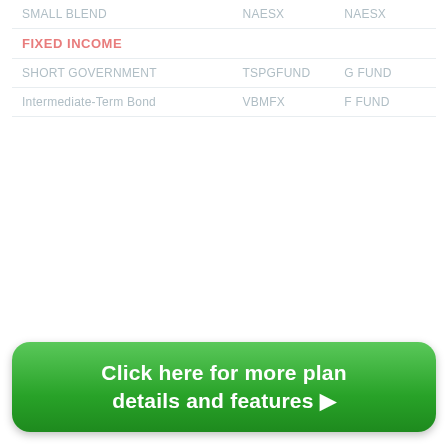|  |  |  |
| --- | --- | --- |
| SMALL BLEND | NAESX | Naesx |
| FIXED INCOME |  |  |
| SHORT GOVERNMENT | TSPGFUND | G FUND |
| Intermediate-Term Bond | VBMFX | F FUND |
Click here for more plan details and features ▶